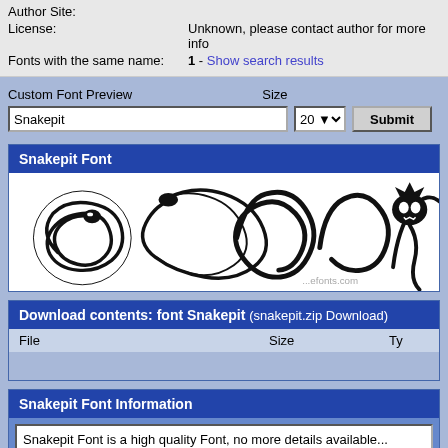| Author Site: | License: | Fonts with the same name: |
| --- | --- | --- |
|  | Unknown, please contact author for more info | 1 - Show search results |
Custom Font Preview
Size
Snakepit (input value)
20 (size dropdown)
Submit
Snakepit Font
[Figure (illustration): Preview of Snakepit font showing decorative snake-based glyphs/characters on white background]
Download contents: font Snakepit (snakepit.zip Download)
| File | Size | Ty |
| --- | --- | --- |
Snakepit Font Information
Snakepit Font is a high quality Font, no more details available...